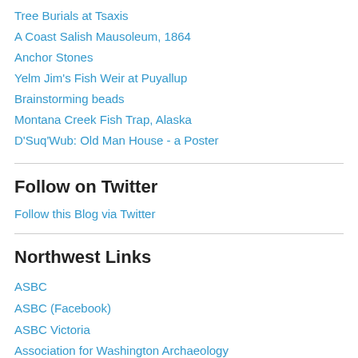Tree Burials at Tsaxis
A Coast Salish Mausoleum, 1864
Anchor Stones
Yelm Jim's Fish Weir at Puyallup
Brainstorming beads
Montana Creek Fish Trap, Alaska
D'Suq'Wub: Old Man House - a Poster
Follow on Twitter
Follow this Blog via Twitter
Northwest Links
ASBC
ASBC (Facebook)
ASBC Victoria
Association for Washington Archaeology
Association of Oregon Archaeologists